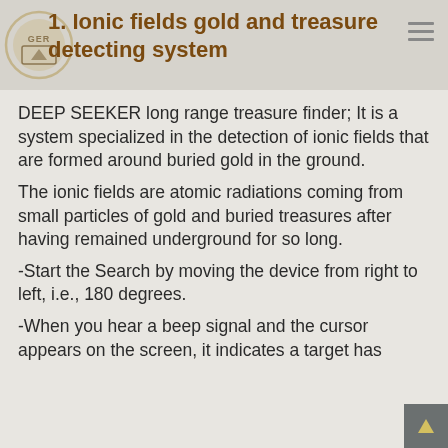1. Ionic fields gold and treasure detecting system
DEEP SEEKER long range treasure finder; It is a system specialized in the detection of ionic fields that are formed around buried gold in the ground.
The ionic fields are atomic radiations coming from small particles of gold and buried treasures after having remained underground for so long.
-Start the Search by moving the device from right to left, i.e., 180 degrees.
-When you hear a beep signal and the cursor appears on the screen, it indicates a target has